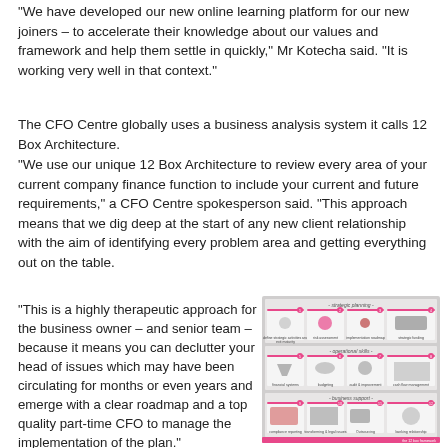“We have developed our new online learning platform for our new joiners – to accelerate their knowledge about our values and framework and help them settle in quickly,” Mr Kotecha said. “It is working very well in that context.”
The CFO Centre globally uses a business analysis system it calls 12 Box Architecture.
“We use our unique 12 Box Architecture to review every area of your current company finance function to include your current and future requirements,” a CFO Centre spokesperson said. “This approach means that we dig deep at the start of any new client relationship with the aim of identifying every problem area and getting everything out on the table.
“This is a highly therapeutic approach for the business owner – and senior team – because it means you can declutter your head of issues which may have been circulating for months or even years and emerge with a clear roadmap and a top quality part-time CFO to manage the implementation of the plan.”
[Figure (infographic): The 12 Box Framework diagram showing a grid of 12 boxes organized in three rows labeled: strategic planning (top), operational skills (middle), business support (bottom). Each box contains a small icon and label. Pink/magenta border at bottom with text 'the 12 box framework'.]